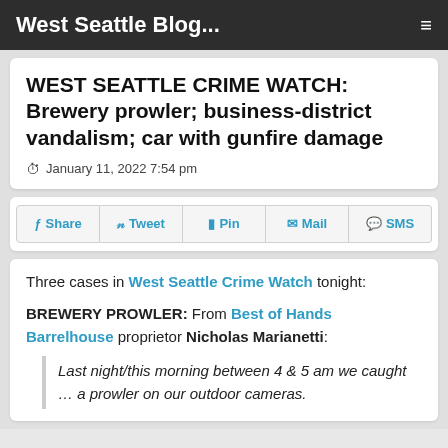West Seattle Blog...
WEST SEATTLE CRIME WATCH: Brewery prowler; business-district vandalism; car with gunfire damage
January 11, 2022 7:54 pm
Share | Tweet | Pin | Mail | SMS
Three cases in West Seattle Crime Watch tonight:
BREWERY PROWLER: From Best of Hands Barrelhouse proprietor Nicholas Marianetti:
Last night/this morning between 4 & 5 am we caught … a prowler on our outdoor cameras.